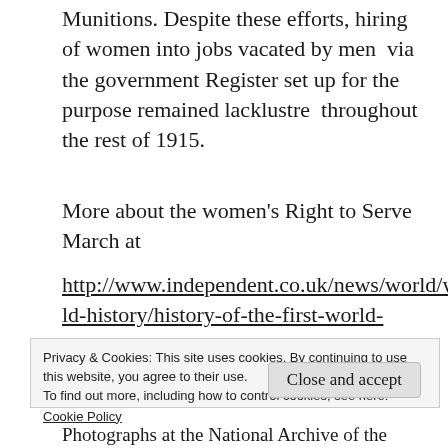Munitions. Despite these efforts, hiring of women into jobs vacated by men  via the government Register set up for the purpose remained lacklustre  throughout the rest of 1915.
More about the women’s Right to Serve March at
http://www.independent.co.uk/news/world/world-history/history-of-the-first-world-war-in-
Privacy & Cookies: This site uses cookies. By continuing to use this website, you agree to their use.
To find out more, including how to control cookies, see here:
Cookie Policy
Close and accept
Photographs at the National Archive of the